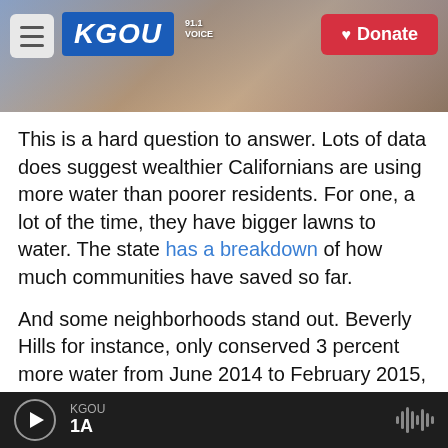[Figure (screenshot): KGOU radio station website header with logo, hamburger menu, city background photo, and Donate button]
This is a hard question to answer. Lots of data does suggest wealthier Californians are using more water than poorer residents. For one, a lot of the time, they have bigger lawns to water. The state has a breakdown of how much communities have saved so far.
And some neighborhoods stand out. Beverly Hills for instance, only conserved 3 percent more water from June 2014 to February 2015, compared to 2013 usage levels. But in that same period, Palo Alto, another wealthy area in California, conserved
KGOU  1A